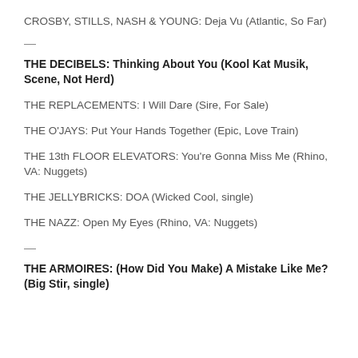CROSBY, STILLS, NASH & YOUNG: Deja Vu (Atlantic, So Far)
—
THE DECIBELS: Thinking About You (Kool Kat Musik, Scene, Not Herd)
THE REPLACEMENTS: I Will Dare (Sire, For Sale)
THE O'JAYS: Put Your Hands Together (Epic, Love Train)
THE 13th FLOOR ELEVATORS: You're Gonna Miss Me (Rhino, VA: Nuggets)
THE JELLYBRICKS: DOA (Wicked Cool, single)
THE NAZZ: Open My Eyes (Rhino, VA: Nuggets)
—
THE ARMOIRES: (How Did You Make) A Mistake Like Me? (Big Stir, single)